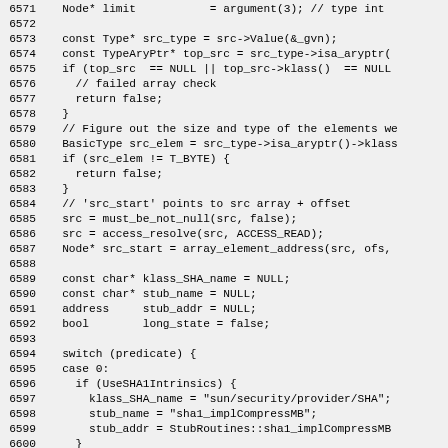Source code listing, lines 6571-6600, showing C++ code involving Node* limit, type checks, array element address, SHA1 intrinsics switch case.